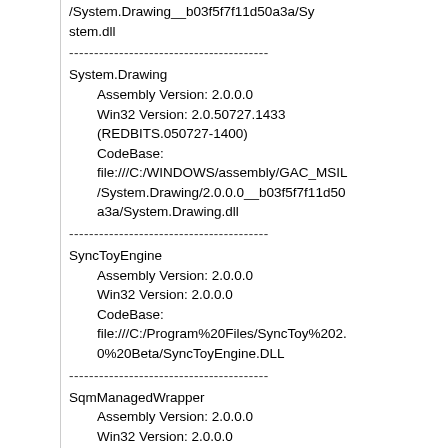/System.Drawing dll (truncated at top)
----------------------------------------
System.Drawing
    Assembly Version: 2.0.0.0
    Win32 Version: 2.0.50727.1433 (REDBITS.050727-1400)
    CodeBase: file:///C:/WINDOWS/assembly/GAC_MSIL/System.Drawing/2.0.0.0__b03f5f7f11d50a3a/System.Drawing.dll
----------------------------------------
SyncToyEngine
    Assembly Version: 2.0.0.0
    Win32 Version: 2.0.0.0
    CodeBase: file:///C:/Program%20Files/SyncToy%202.0%20Beta/SyncToyEngine.DLL
----------------------------------------
SqmManagedWrapper
    Assembly Version: 2.0.0.0
    Win32 Version: 2.0.0.0
    CodeBase: file:///C:/Program%20Files/SyncToy%202.0%20Beta/SqmManagedWrapper.DLL
----------------------------------------
System.Configuration
    Assembly Version: 2.0.0.0
    Win32 Version: 2.0.50727.1433